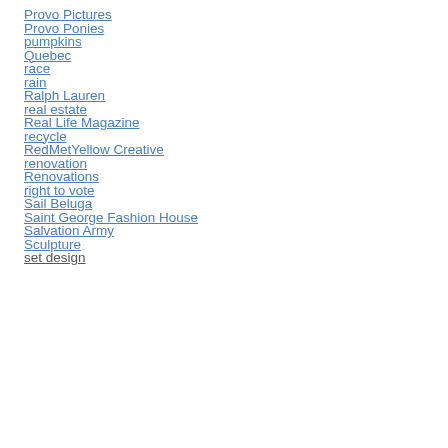Provo Pictures
Provo Ponies
pumpkins
Quebec
race
rain
Ralph Lauren
real estate
Real Life Magazine
recycle
RedMetYellow Creative
renovation
Renovations
right to vote
Sail Beluga
Saint George Fashion House
Salvation Army
Sculpture
set design